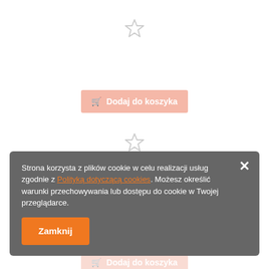[Figure (other): Star/favorite icon (outline), top area]
[Figure (other): Add to cart button (Dodaj do koszyka), first]
[Figure (other): Star/favorite icon (outline), middle area]
[Figure (other): Add to cart button (Dodaj do koszyka), second]
Strona korzysta z plików cookie w celu realizacji usług zgodnie z Polityką dotyczącą cookies. Możesz określić warunki przechowywania lub dostępu do cookie w Twojej przeglądarce.
Zamknij